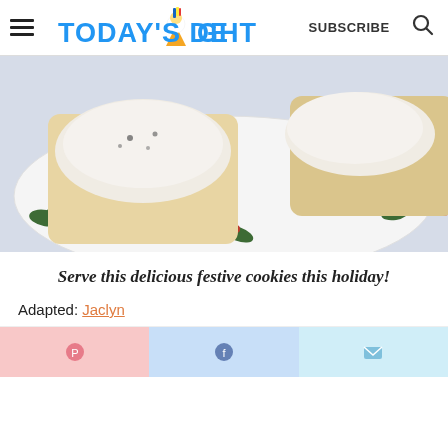Today's Delight — SUBSCRIBE
[Figure (photo): Frosted sugar cookies with sprinkles served on a white holiday plate decorated with holly leaves and red berries.]
Serve this delicious festive cookies this holiday!
Adapted: Jaclyn
[Figure (infographic): Social sharing buttons: Pinterest (pink), Facebook (light blue), and email (light cyan).]